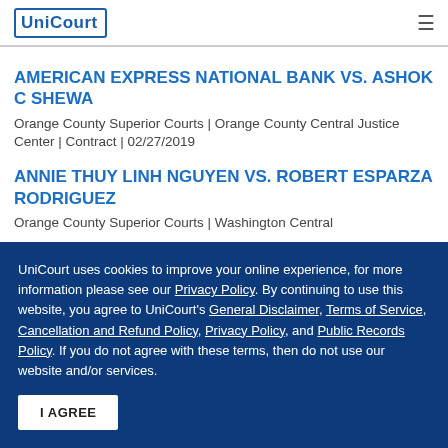UniCourt
AMERICAN EXPRESS NATIONAL BANK VS. ASHOK C SHEWA
Orange County Superior Courts | Orange County Central Justice Center | Contract | 02/27/2019
ANNIE THUY LINH NGUYEN VS. ROBERT ESPARZA RODRIGUEZ
UniCourt uses cookies to improve your online experience, for more information please see our Privacy Policy. By continuing to use this website, you agree to UniCourt's General Disclaimer, Terms of Service, Cancellation and Refund Policy, Privacy Policy, and Public Records Policy. If you do not agree with these terms, then do not use our website and/or services.
I AGREE